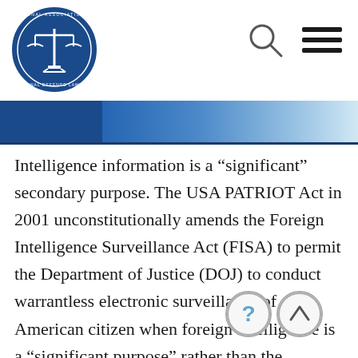National Association of Criminal Defense Lawyers - logo and navigation
Intelligence information is a “significant” secondary purpose. The USA PATRIOT Act in 2001 unconstitutionally amends the Foreign Intelligence Surveillance Act (FISA) to permit the Department of Justice (DOJ) to conduct warrantless electronic surveillance of an American citizen when foreign intelligence is a “significant purpose” rather than the “primary purpose.” FISA’s so-called “privacy protections” are “illusory” and do not “justify abandoning the Fourth Amendment warrant and probable cause